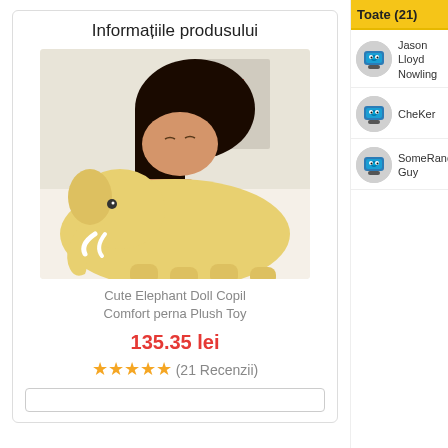Informațiile produsului
[Figure (photo): Woman resting her head on a large yellow plush elephant toy]
Cute Elephant Doll Copil Comfort perna Plush Toy
135.35 lei
★★★★★ (21 Recenzii)
Toate (21)
Jason Lloyd Nowling
CheKer
SomeRandom Guy